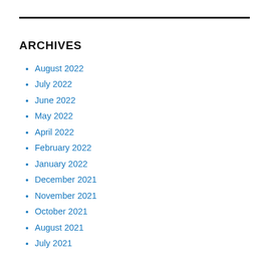ARCHIVES
August 2022
July 2022
June 2022
May 2022
April 2022
February 2022
January 2022
December 2021
November 2021
October 2021
August 2021
July 2021